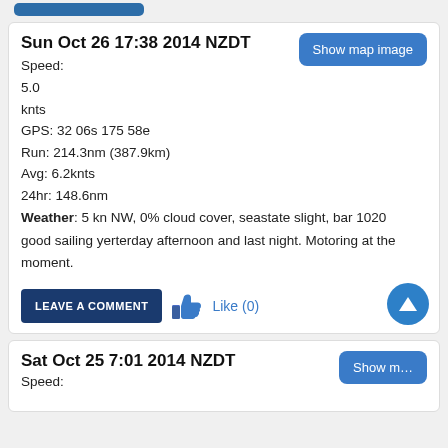Sun Oct 26 17:38 2014 NZDT
Speed:
5.0
knts
GPS: 32 06s 175 58e
Run: 214.3nm (387.9km)
Avg: 6.2knts
24hr: 148.6nm
Weather: 5 kn NW, 0% cloud cover, seastate slight, bar 1020
good sailing yerterday afternoon and last night. Motoring at the moment.
LEAVE A COMMENT   Like (0)
Sat Oct 25 7:01 2014 NZDT